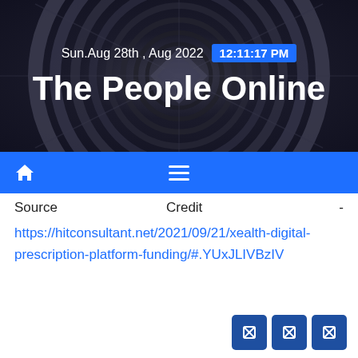Sun.Aug 28th , Aug 2022   12:11:17 PM
The People Online
Source   Credit   -
https://hitconsultant.net/2021/09/21/xealth-digital-prescription-platform-funding/#.YUxJLIVBzIV